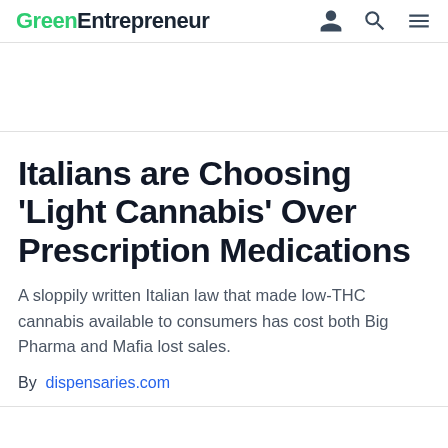Green Entrepreneur
Italians are Choosing 'Light Cannabis' Over Prescription Medications
A sloppily written Italian law that made low-THC cannabis available to consumers has cost both Big Pharma and Mafia lost sales.
By dispensaries.com